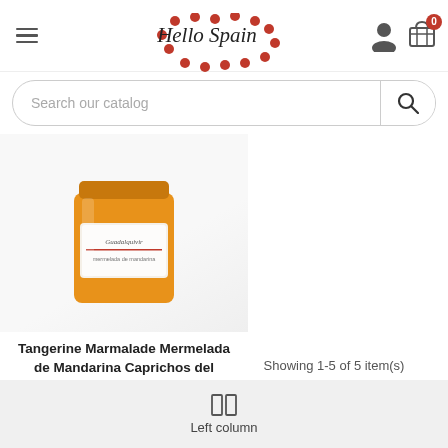Hello Spain — navigation header with hamburger menu, logo, user icon, and cart icon (0 items)
Search our catalog
[Figure (photo): Product photo: a glass jar of Tangerine Marmalade (Mermelada de Mandarina Caprichos del Guadalquivir) with an orange label, on a white background.]
Tangerine Marmalade Mermelada de Mandarina Caprichos del Guadalquivir
€7.35
Showing 1-5 of 5 item(s)
Left column